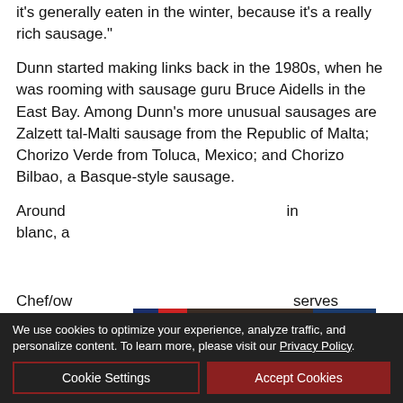it's generally eaten in the winter, because it's a really rich sausage."
Dunn started making links back in the 1980s, when he was rooming with sausage guru Bruce Aidells in the East Bay. Among Dunn's more unusual sausages are Zalzett tal-Malti sausage from the Republic of Malta; Chorizo Verde from Toluca, Mexico; and Chorizo Bilbao, a Basque-style sausage.
Around [partially obscured by ad] in blanc, a [partially obscured by ad]
Chef/ow [partially obscured by ad] serves
[Figure (screenshot): La-Z-Boy Labor Day Sale advertisement: UP TO 20% OFF STOREWIDE PLUS 0% INTEREST UNTIL JANUARY 2027, with American flag graphic on left and La-Z-Boy logo with Click For Details button on right]
We use cookies to optimize your experience, analyze traffic, and personalize content. To learn more, please visit our Privacy Policy.
Cookie Settings
Accept Cookies